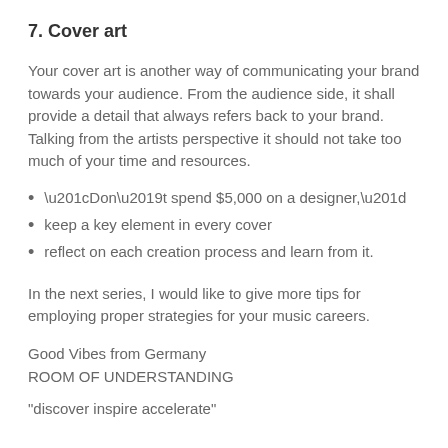7. Cover art
Your cover art is another way of communicating your brand towards your audience. From the audience side, it shall provide a detail that always refers back to your brand. Talking from the artists perspective it should not take too much of your time and resources.
“Don’t spend $5,000 on a designer,”
keep a key element in every cover
reflect on each creation process and learn from it.
In the next series, I would like to give more tips for employing proper strategies for your music careers.
Good Vibes from Germany
ROOM OF UNDERSTANDING
“discover inspire accelerate”